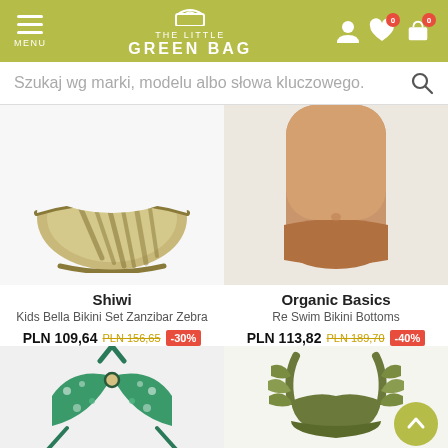THE LITTLE GREEN BAG — navigation header with menu, logo, user icons, wishlist (0), cart (0)
Szukaj wg marki, modelu albo słowa kluczowego.
[Figure (photo): Bikini bottom with zebra/leaf print pattern (Shiwi product)]
Shiwi
Kids Bella Bikini Set Zanzibar Zebra
PLN 109,64  PLN 156,65  -30%
[Figure (photo): Model wearing orange/tan Re Swim Bikini Bottoms (Organic Basics product)]
Organic Basics
Re Swim Bikini Bottoms
PLN 113,82  PLN 189,70  -40%
[Figure (photo): Green floral halter bikini top (partially visible, bottom row)]
[Figure (photo): Olive green ruffle bikini top (partially visible, bottom row)]